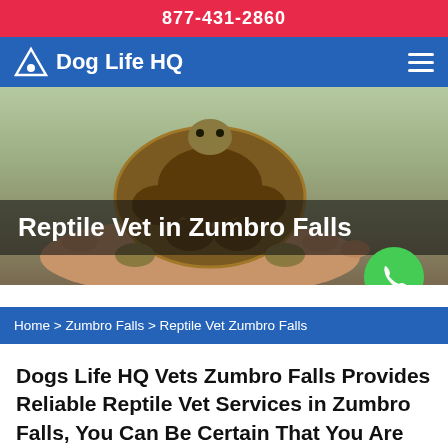877-431-2860
[Figure (logo): Dog Life HQ logo with inverted triangle icon and navigation hamburger menu on blue bar]
[Figure (photo): Photo of a small tortoise being held in a human hand, overlaid with 'Reptile Vet in Zumbro Falls' title text and a green phone call button]
Home > Zumbro Falls > Reptile Vet Zumbro Falls
Dogs Life HQ Vets Zumbro Falls Provides Reliable Reptile Vet Services in Zumbro Falls, You Can Be Certain That You Are